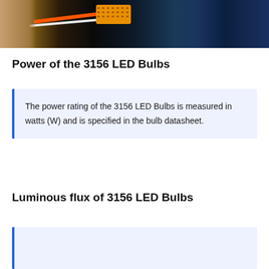[Figure (photo): Photo showing wiring with orange and white wires connected to an electronic component (likely an LED load resistor) in a vehicle, with dark background showing vehicle interior]
Power of the 3156 LED Bulbs
The power rating of the 3156 LED Bulbs is measured in watts (W) and is specified in the bulb datasheet.
Luminous flux of 3156 LED Bulbs